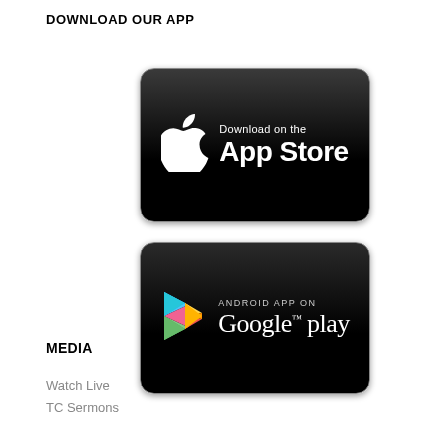DOWNLOAD OUR APP
[Figure (illustration): App Store download button — black rounded rectangle with Apple logo and text 'Download on the App Store']
[Figure (illustration): Google Play download button — black rounded rectangle with Google Play triangle logo and text 'ANDROID APP ON Google play']
MEDIA
Watch Live
TC Sermons